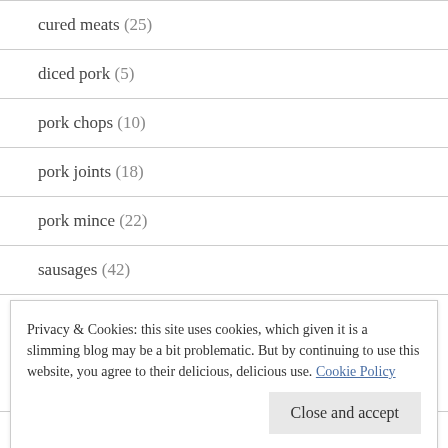cured meats (25)
diced pork (5)
pork chops (10)
pork joints (18)
pork mince (22)
sausages (42)
poultry (143)
Privacy & Cookies: this site uses cookies, which given it is a slimming blog may be a bit problematic. But by continuing to use this website, you agree to their delicious, delicious use. Cookie Policy
thighs (8)